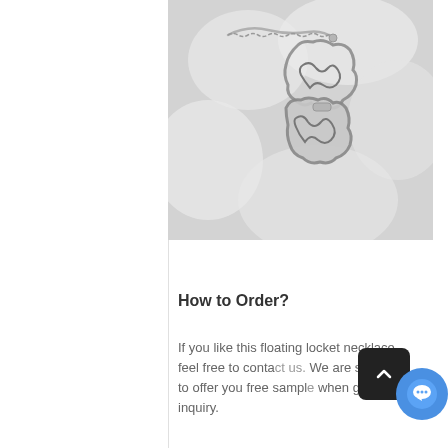[Figure (photo): Product photo of a floating locket necklace with puzzle-piece shaped silver pendants on a chain, photographed on a white fluffy background. Black and white photo.]
How to Order?
If you like this floating locket necklace, feel free to contact us. We are so willing to offer you free sample when get your inquiry.